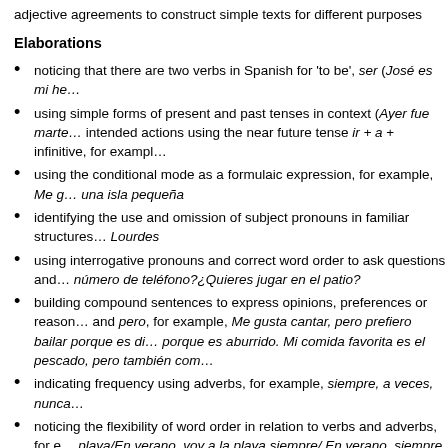adjective agreements to construct simple texts for different purposes
Elaborations
noticing that there are two verbs in Spanish for 'to be', ser (José es mi he…
using simple forms of present and past tenses in context (Ayer fue marte… intended actions using the near future tense ir + a + infinitive, for exampl…
using the conditional mode as a formulaic expression, for example, Me g… una isla pequeña
identifying the use and omission of subject pronouns in familiar structures… Lourdes
using interrogative pronouns and correct word order to ask questions and… número de teléfono?¿Quieres jugar en el patio?
building compound sentences to express opinions, preferences or reasons… and pero, for example, Me gusta cantar, pero prefiero bailar porque es di… porque es aburrido. Mi comida favorita es el pescado, pero también com…
indicating frequency using adverbs, for example, siempre, a veces, nunca…
noticing the flexibility of word order in relation to verbs and adverbs, for e… playa/En verano, voy a la playa siempre/ En verano, siempre voy a la pla…
using ordinal numbers, for example, Rosario Arjona es la primera de la lis…
understanding gender and number agreement between articles, nouns a… nuevo, Las montañas rocosas son muy bonitas
comparing the use of diminutives to express affection in Spanish (herman… equivalents in English, for example, 'dear little sister', 'lovely little cat'
using comparatives based on models, for example, tan grande como …, Australia es más grande que Europa
recognising that some nouns do not follow the regular masculine/feminina…